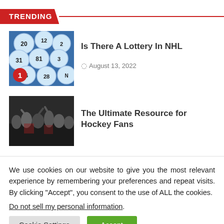TRENDING
[Figure (photo): Lottery balls with numbers, blue background, rank badge '1']
Is There A Lottery In NHL
August 13, 2022
[Figure (photo): Crowd of hockey fans celebrating]
The Ultimate Resource for Hockey Fans
We use cookies on our website to give you the most relevant experience by remembering your preferences and repeat visits. By clicking “Accept”, you consent to the use of ALL the cookies.
Do not sell my personal information.